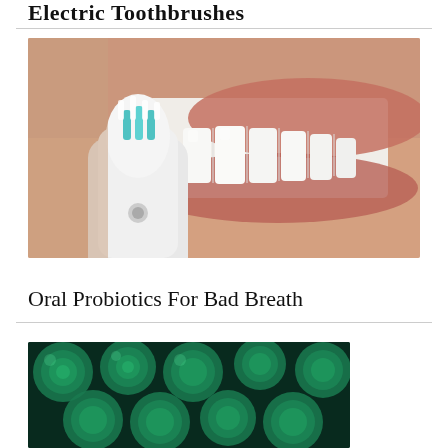Electric Toothbrushes
[Figure (photo): Close-up photo of a person brushing teeth with an electric toothbrush with teal/white bristle head]
Oral Probiotics For Bad Breath
[Figure (photo): Close-up macro photo of green/teal spherical probiotic cells or bacteria]